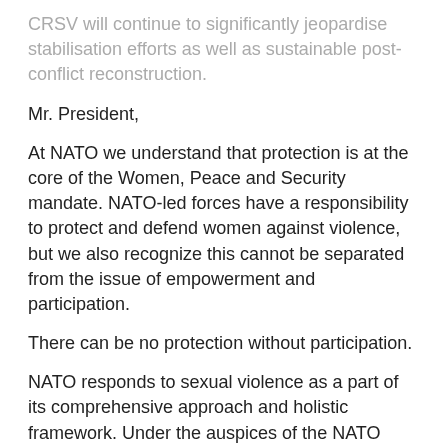CRSV will continue to significantly jeopardise stabilisation efforts as well as sustainable post-conflict reconstruction.
Mr. President,
At NATO we understand that protection is at the core of the Women, Peace and Security mandate. NATO-led forces have a responsibility to protect and defend women against violence, but we also recognize this cannot be separated from the issue of empowerment and participation.
There can be no protection without participation.
NATO responds to sexual violence as a part of its comprehensive approach and holistic framework. Under the auspices of the NATO Policy and Action Plan on Women, Peace and Security, we highlight that a response is needed within the wider framework of Women, Peace and Security. The development of the military guidelines to prevent and respond to conflict